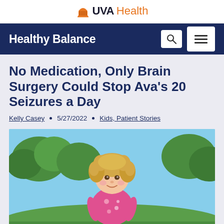[Figure (logo): UVA Health logo with rotunda icon in orange/gold, 'UVA' in dark navy bold and 'Health' in orange]
Healthy Balance
No Medication, Only Brain Surgery Could Stop Ava’s 20 Seizures a Day
Kelly Casey · 5/27/2022 · Kids, Patient Stories
[Figure (photo): A young girl with curly blonde hair and a pink floral top smiling outdoors with trees and blue sky in the background]